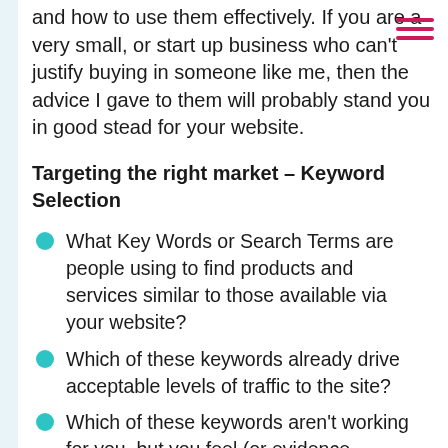and how to use them effectively. If you are a very small, or start up business who can't justify buying in someone like me, then the advice I gave to them will probably stand you in good stead for your website.
Targeting the right market – Keyword Selection
What Key Words or Search Terms are people using to find products and services similar to those available via your website?
Which of these keywords already drive acceptable levels of traffic to the site?
Which of these keywords aren't working for you, but you feel (or evidence suggests) that they work well for your competitors?